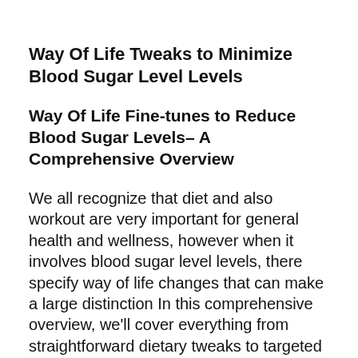Way Of Life Tweaks to Minimize Blood Sugar Level Levels
Way Of Life Fine-tunes to Reduce Blood Sugar Levels– A Comprehensive Overview
We all recognize that diet and also workout are very important for general health and wellness, however when it involves blood sugar level levels, there specify way of life changes that can make a large distinction In this comprehensive overview, we'll cover everything from straightforward dietary tweaks to targeted exercises that can help reduce blood glucose levels and enhance insulin level of sensitivity